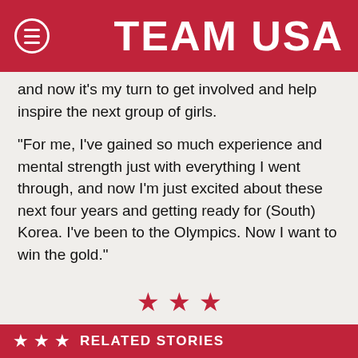TEAM USA
and now it’s my turn to get involved and help inspire the next group of girls.
“For me, I’ve gained so much experience and mental strength just with everything I went through, and now I’m just excited about these next four years and getting ready for (South) Korea. I’ve been to the Olympics. Now I want to win the gold.”
[Figure (illustration): Three red star symbols centered on the page]
RELATED STORIES